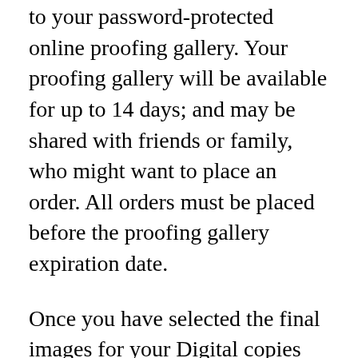to your password-protected online proofing gallery. Your proofing gallery will be available for up to 14 days; and may be shared with friends or family, who might want to place an order. All orders must be placed before the proofing gallery expiration date.
Once you have selected the final images for your Digital copies and prints, it will take up to three weeks for you to receive the final product. Please contact me for more info regarding prints.
In the rare event that I'd cancel (this has yet